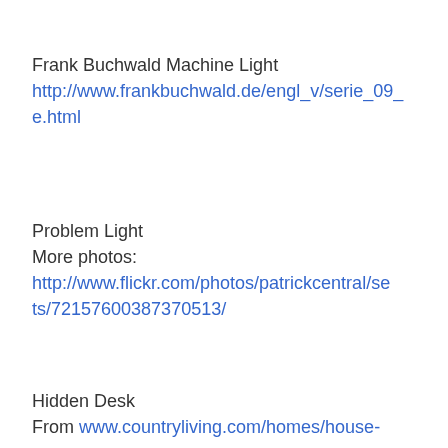Frank Buchwald Machine Light
http://www.frankbuchwald.de/engl_v/serie_09_e.html
Problem Light
More photos:
http://www.flickr.com/photos/patrickcentral/sets/72157600387370513/
Hidden Desk
From www.countryliving.com/homes/house-